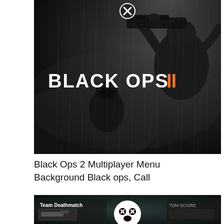[Figure (screenshot): Call of Duty Black Ops II promotional artwork showing armored soldiers in dark stormy setting with 'BLACK OPS II' logo (white text with orange Roman numeral II) and a close button (X) at top center]
Black Ops 2 Multiplayer Menu Background Black ops, Call
[Figure (screenshot): Partial screenshot of Black Ops 2 multiplayer Team Deathmatch menu with a shocked emoji-style face icon visible]